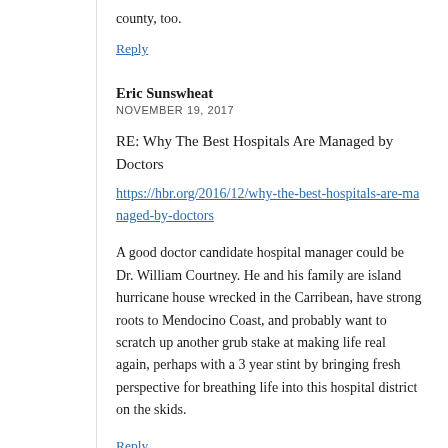county, too.
Reply
Eric Sunswheat
NOVEMBER 19, 2017
RE: Why The Best Hospitals Are Managed by Doctors
https://hbr.org/2016/12/why-the-best-hospitals-are-managed-by-doctors
A good doctor candidate hospital manager could be Dr. William Courtney. He and his family are island hurricane house wrecked in the Carribean, have strong roots to Mendocino Coast, and probably want to scratch up another grub stake at making life real again, perhaps with a 3 year stint by bringing fresh perspective for breathing life into this hospital district on the skids.
Reply